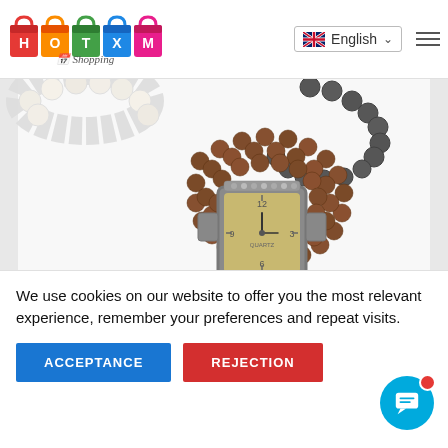[Figure (logo): HotXom Shopping logo with colorful shopping bags]
[Figure (screenshot): UI element: English language selector with UK flag and dropdown arrow, and hamburger menu icon]
[Figure (photo): Product photo of a pearl beaded watch bracelet with square gold-faced watch and brown pearl band, plus white and dark bead necklaces partially visible at top]
We use cookies on our website to offer you the most relevant experience, remember your preferences and repeat visits.
[Figure (infographic): ACCEPTANCE button (blue) and REJECTION button (red) for cookie consent, plus a blue chat bubble button with notification dot in bottom right]